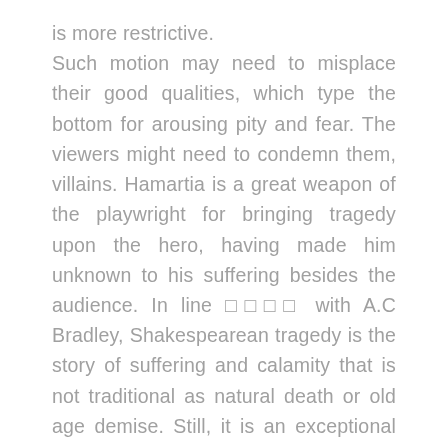is more restrictive. Such motion may need to misplace their good qualities, which type the bottom for arousing pity and fear. The viewers might need to condemn them, villains. Hamartia is a great weapon of the playwright for bringing tragedy upon the hero, having made him unknown to his suffering besides the audience. In line □□□□ with A.C Bradley, Shakespearean tragedy is the story of suffering and calamity that is not traditional as natural death or old age demise. Still, it is an exceptional loss of life that arouses tragic emotions. It is an eternal productive work of Shakespeare, brilliantly propounds the tragic flaw or hamartia (error of judgment), leading to the loss of the life of a hero. Other than it it